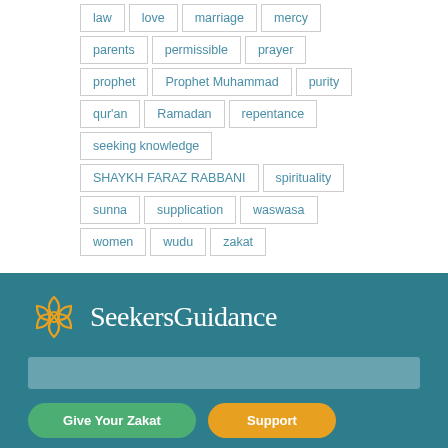law | love | marriage | mercy | parents | permissible | prayer | prophet | Prophet Muhammad | purity | qur'an | Ramadan | repentance | seeking knowledge | SHAYKH FARAZ RABBANI | spirituality | sunna | supplication | waswasa | women | wudu | zakat
[Figure (logo): SeekersGuidance logo with geometric hexagonal icon in gold/amber color and text 'SeekersGuidance' in white serif font on teal background]
Give Your Zakat
Support